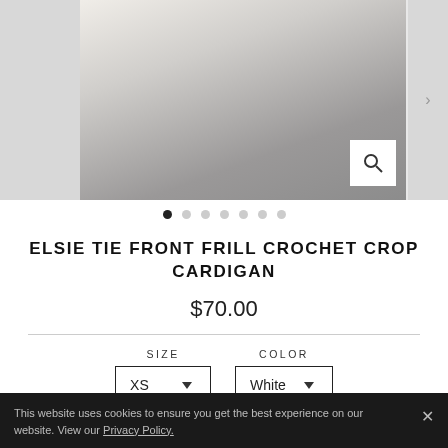[Figure (photo): Product photo of a white crochet crop cardigan with tie front and frill details, worn with a gray ruffled skirt. Image carousel with magnify button visible.]
• • • • • • •  (carousel dots, first active)
ELSIE TIE FRONT FRILL CROCHET CROP CARDIGAN
$70.00
SIZE  COLOR
XS ∨  White ∨
ADD TO CART
This website uses cookies to ensure you get the best experience on our website. View our Privacy Policy.